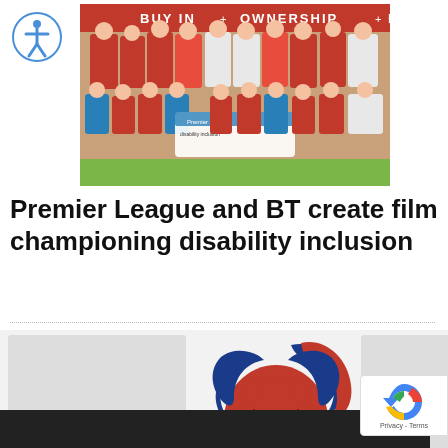[Figure (photo): Accessibility icon: white person symbol on blue circle background]
[Figure (photo): Group photo of football team in red and blue kits, holding a banner, with 'BUY IN + OWNERSHIP + RE' text visible on wall behind them]
Premier League and BT create film championing disability inclusion
[Figure (logo): ParalympicsGB lion head logo in red and blue]
ParalympicsGB announce first athletes selected to compete at Sochi 2014
[Figure (logo): Google reCAPTCHA badge with Privacy and Terms links]